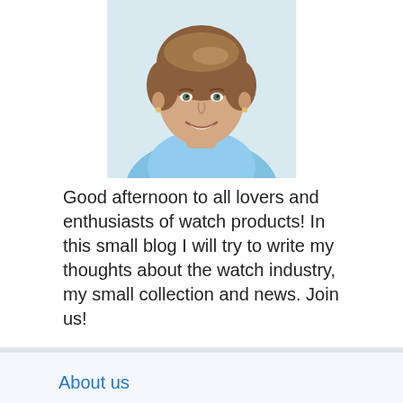[Figure (photo): Portrait photo of a middle-aged woman with short wavy brown hair, smiling, wearing a light blue top.]
Good afternoon to all lovers and enthusiasts of watch products! In this small blog I will try to write my thoughts about the watch industry, my small collection and news. Join us!
About us
Contact
Privacy Policy & Cookies
ATTENTION TO RIGHT HOLDERS! All